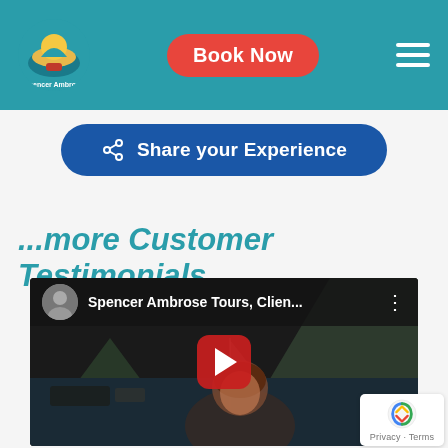[Figure (screenshot): Website header with teal background showing Spencer Ambrose Tours logo on left, red 'Book Now' button in center, and hamburger menu icon on right]
[Figure (screenshot): Dark blue rounded button labeled 'Share your Experience' with share icon]
...more Customer Testimonials
[Figure (screenshot): YouTube video embed showing Spencer Ambrose Tours client testimonial video with dark scenic background of woman in front of tropical water and piton mountains, red play button in center, video title 'Spencer Ambrose Tours, Clien...' in top bar]
[Figure (logo): reCAPTCHA badge in bottom right corner showing recaptcha logo and Privacy - Terms text]